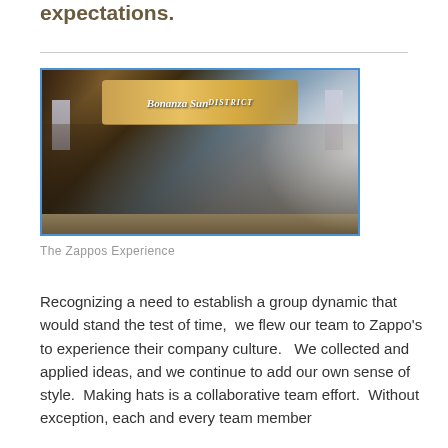expectations.
[Figure (photo): Group photo of team members standing in front of a Zappos sign, some holding flags, in what appears to be the Zappos headquarters lobby.]
The Zappos Experience
Recognizing a need to establish a group dynamic that would stand the test of time,  we flew our team to Zappo's to experience their company culture.   We collected and applied ideas, and we continue to add our own sense of style.  Making hats is a collaborative team effort.  Without exception, each and every team member